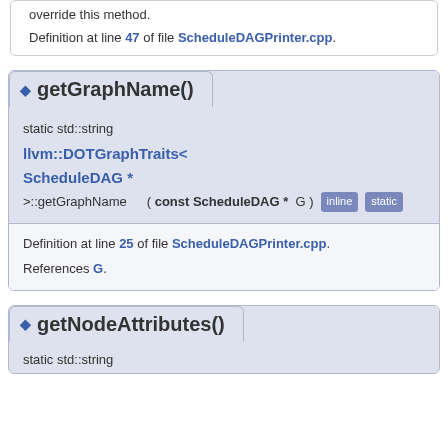override this method.
Definition at line 47 of file ScheduleDAGPrinter.cpp.
getGraphName()
static std::string llvm::DOTGraphTraits< ScheduleDAG * >::getGraphName ( const ScheduleDAG * G ) [inline] [static]
Definition at line 25 of file ScheduleDAGPrinter.cpp.
References G.
getNodeAttributes()
static std::string